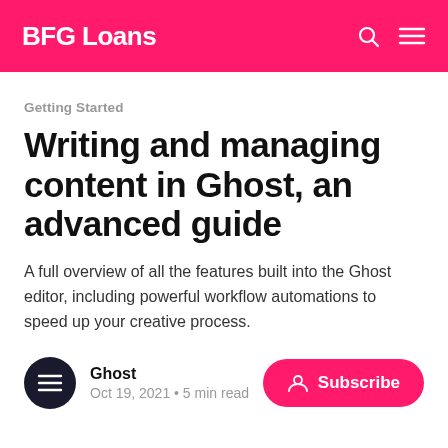BFG Loans
Getting Started
Writing and managing content in Ghost, an advanced guide
A full overview of all the features built into the Ghost editor, including powerful workflow automations to speed up your creative process.
Ghost
Oct 19, 2021 • 5 min read